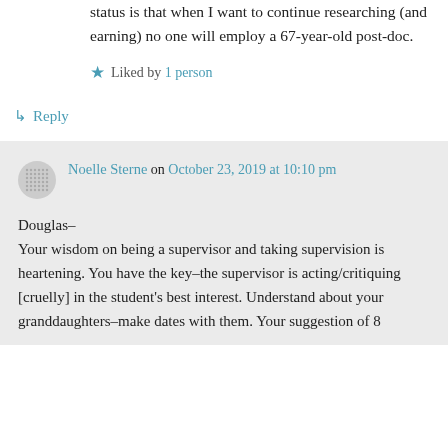status is that when I want to continue researching (and earning) no one will employ a 67-year-old post-doc.
Liked by 1 person
↳ Reply
Noelle Sterne on October 23, 2019 at 10:10 pm
Douglas–
Your wisdom on being a supervisor and taking supervision is heartening. You have the key–the supervisor is acting/critiquing [cruelly] in the student's best interest. Understand about your granddaughters–make dates with them. Your suggestion of 8